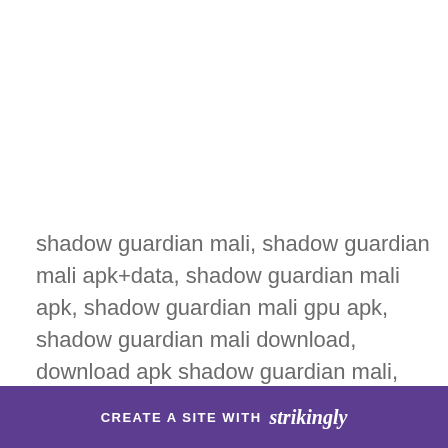shadow guardian mali, shadow guardian mali apk+data, shadow guardian mali apk, shadow guardian mali gpu apk, shadow guardian mali download, download apk shadow guardian mali, shadow guardian apk data mali download, shadow guardian apk obb mali, shadow guardian hd apk data mali, shadow guardian free download shadow guardian apk m...
CREATE A SITE WITH strikingly